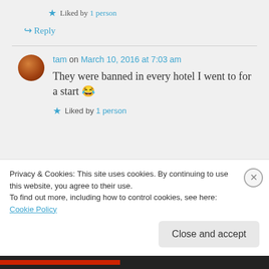Liked by 1 person
↪ Reply
tam on March 10, 2016 at 7:03 am
They were banned in every hotel I went to for a start 😂
Liked by 1 person
Privacy & Cookies: This site uses cookies. By continuing to use this website, you agree to their use. To find out more, including how to control cookies, see here: Cookie Policy